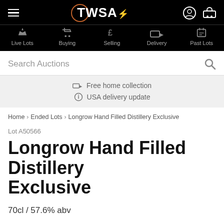TWSA — Live Lots | Buying | Selling | Delivery | Past Lots
Search Auctions
Free home collection
USA delivery update
Home › Ended Lots › Longrow Hand Filled Distillery Exclusive
Lot A50566
Longrow Hand Filled Distillery Exclusive
70cl / 57.6% abv